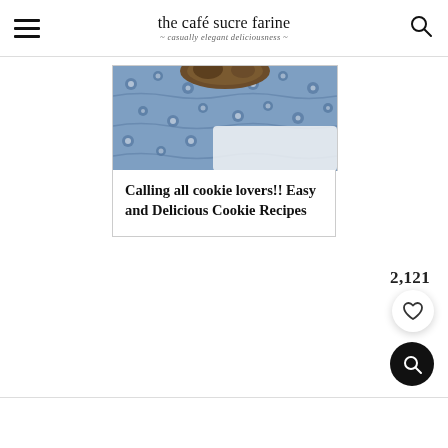the café sucre farine — casually elegant deliciousness
[Figure (photo): Blue and white floral patterned fabric or napkin with a baked cookie/food item partially visible, on a white surface]
Calling all cookie lovers!! Easy and Delicious Cookie Recipes
2,121